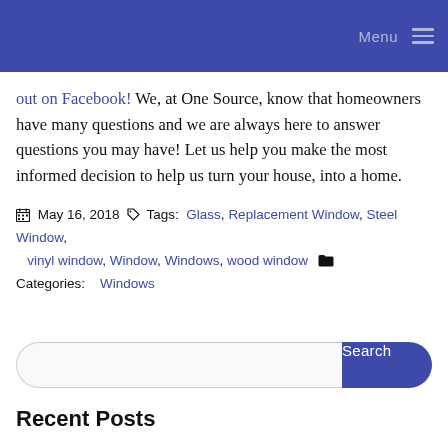Menu
out on Facebook! We, at One Source, know that homeowners have many questions and we are always here to answer questions you may have! Let us help you make the most informed decision to help us turn your house, into a home.
May 16, 2018  Tags: Glass, Replacement Window, Steel Window, vinyl window, Window, Windows, wood window  Categories: Windows
Search
Recent Posts